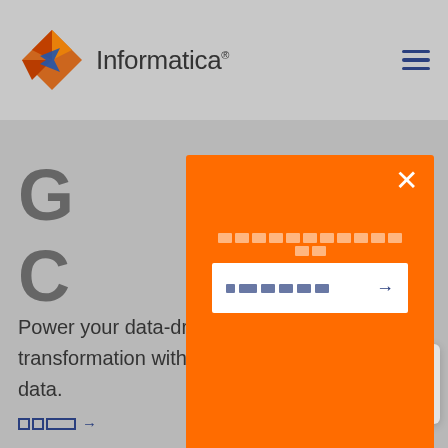[Figure (logo): Informatica logo with diamond/arrow icon and company name]
[Figure (screenshot): Hamburger menu icon (three horizontal lines) in dark blue]
G
C
Power your data-driven digital transformation with integrated, trusted data.
[Figure (screenshot): Orange modal popup with close X button, redacted label text, and white input box with redacted text and blue arrow]
[Figure (screenshot): Email envelope icon button in light gray rounded square]
→